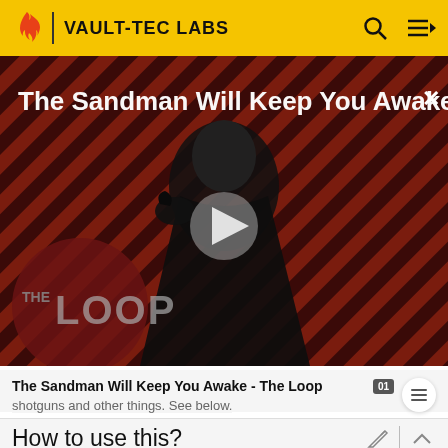VAULT-TEC LABS
[Figure (screenshot): Video thumbnail showing a dark figure (The Sandman) on a red and black diagonal striped background with 'THE LOOP' text overlay, a play button in the center, and title 'The Sandman Will Keep You Awake...' with an X close button in top right]
The Sandman Will Keep You Awake - The Loop
shotguns and other things. See below.
How to use this?